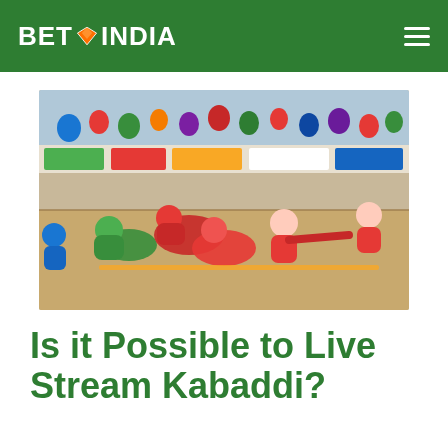BET INDIA
[Figure (photo): Kabaddi players in red and green jerseys wrestling on a sandy beach court with sponsor banners in the background]
Is it Possible to Live Stream Kabaddi?